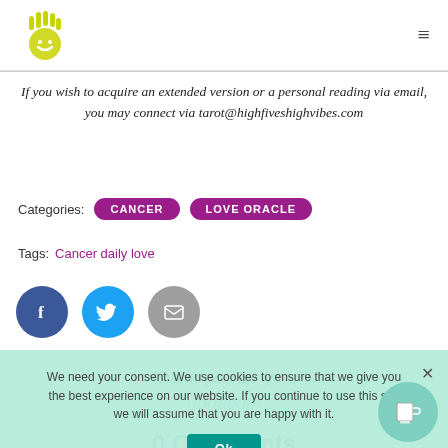High Fives High Vibes logo and navigation
If you wish to acquire an extended version or a personal reading via email, you may connect via tarot@highfiveshighvibes.com
Categories: CANCER LOVE ORACLE
Tags: Cancer daily love
[Figure (infographic): Social share icons: Facebook (dark blue circle with f), Twitter (light blue circle with bird), Email (grey circle with envelope)]
We need your consent. We use cookies to ensure that we give you the best experience on our website. If you continue to use this site we will assume that you are happy with it.
Ok
Thank you for your donation!
0 Comments